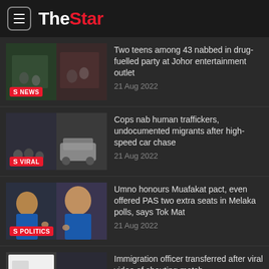The Star
Two teens among 43 nabbed in drug-fuelled party at Johor entertainment outlet
21 Aug 2022
Cops nab human traffickers, undocumented migrants after high-speed car chase
21 Aug 2022
Umno honours Muafakat pact, even offered PAS two extra seats in Melaka polls, says Tok Mat
21 Aug 2022
Immigration officer transferred after viral video of shouting match
21 Aug 2022